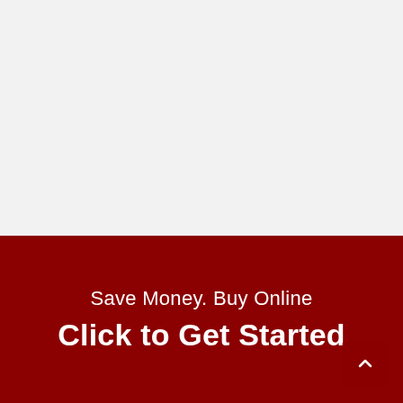[Figure (other): Light gray empty upper area of a webpage screenshot]
Save Money. Buy Online
Click to Get Started